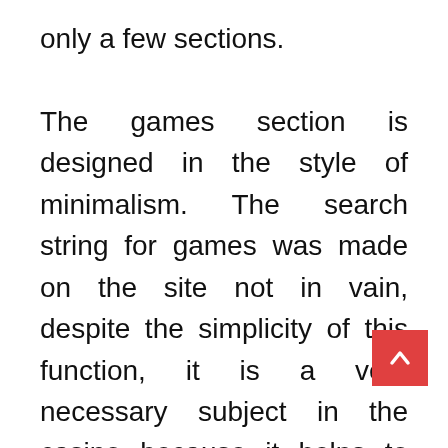only a few sections.

The games section is designed in the style of minimalism. The search string for games was made on the site not in vain, despite the simplicity of this function, it is a very necessary subject in the casino because it helps to find the right game in a huge number of slots and games. All games are conveniently designed by category. Nothing on site hangs or breaks, the casino responds quickly and without delay.